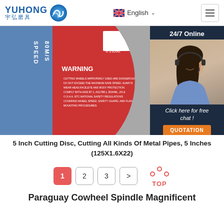[Figure (logo): Yuhong brand logo with blue wave icon and text 'YUHONG 宇弘磨具']
[Figure (photo): Close-up of a 5 inch cutting disc showing warning label with speed 80M/S and safety warnings, with a customer service representative overlay on the right showing '24/7 Online' and 'Click here for free chat! QUOTATION' button]
5 Inch Cutting Disc, Cutting All Kinds Of Metal Pipes, 5 Inches (125X1.6X22)
[Figure (other): Pagination controls: page 1 (active/red), 2, 3, > arrow, and TOP button with red arc icon]
Paraguay Cowheel Spindle Magnificent